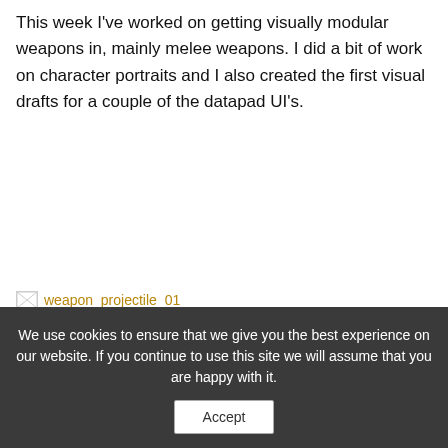This week I've worked on getting visually modular weapons in, mainly melee weapons. I did a bit of work on character portraits and I also created the first visual drafts for a couple of the datapad UI's.
[Figure (photo): Broken image placeholder showing alt text 'weapon_projectile_01' with carousel navigation arrows on left and right sides]
We use cookies to ensure that we give you the best experience on our website. If you continue to use this site we will assume that you are happy with it.